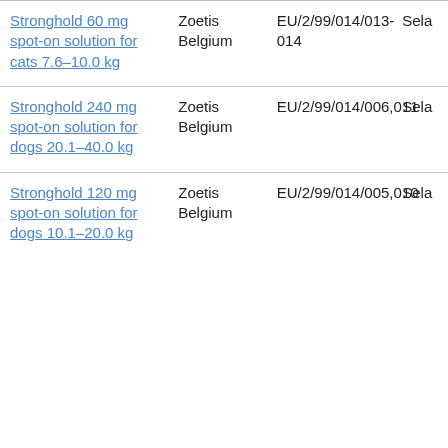| Name | MAH | Number | Active substance |
| --- | --- | --- | --- |
| Stronghold 60 mg spot-on solution for cats 7.6–10.0 kg | Zoetis Belgium | EU/2/99/014/013-014 | Selamectin |
| Stronghold 240 mg spot-on solution for dogs 20.1–40.0 kg | Zoetis Belgium | EU/2/99/014/006,011 | Selamectin |
| Stronghold 120 mg spot-on solution for dogs 10.1–20.0 kg | Zoetis Belgium | EU/2/99/014/005,010 | Selamectin |